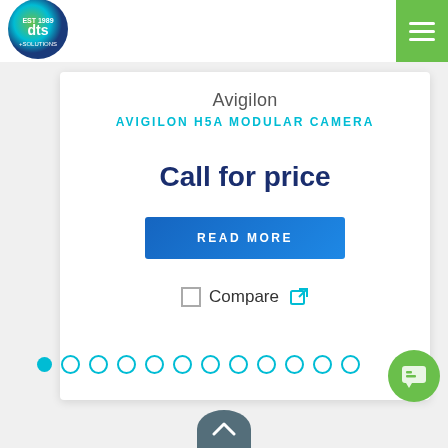DTS Solutions
Avigilon
AVIGILON H5A MODULAR CAMERA
Call for price
READ MORE
Compare